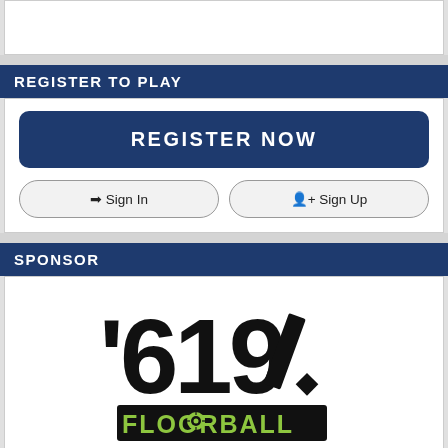[Figure (other): White empty box at top]
REGISTER TO PLAY
REGISTER NOW
Sign In  Sign Up
SPONSOR
[Figure (logo): 619 Floorball logo with large stylized numbers 619 and FLOORBALL text in green on black banner]